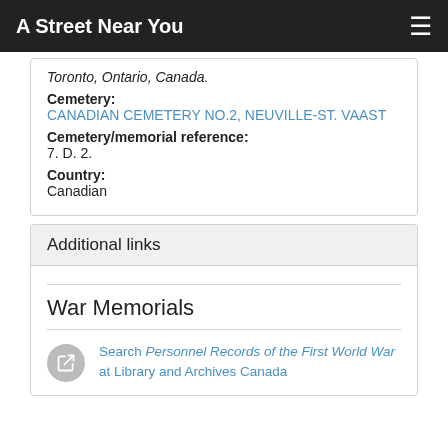A Street Near You
Toronto, Ontario, Canada.
Cemetery:
CANADIAN CEMETERY NO.2, NEUVILLE-ST. VAAST
Cemetery/memorial reference:
7. D. 2.
Country:
Canadian
Additional links
War Memorials
Search Personnel Records of the First World War at Library and Archives Canada